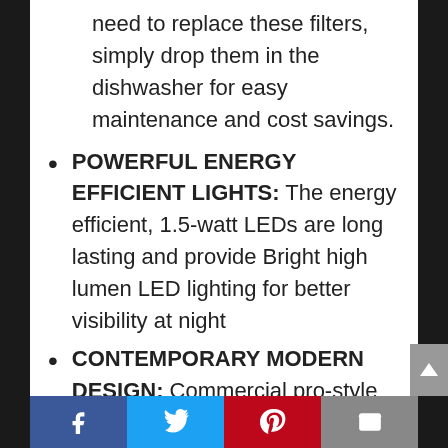need to replace these filters, simply drop them in the dishwasher for easy maintenance and cost savings.
POWERFUL ENERGY EFFICIENT LIGHTS: The energy efficient, 1.5-watt LEDs are long lasting and provide Bright high lumen LED lighting for better visibility at night
CONTEMPORARY MODERN DESIGN: Commercial pro-style canopy rangehood is both elegant and powerful adding sophistication to your kitchen. Made of premium 430 grade, 20-Gauge thickness
Social share bar: Facebook, Twitter, Pinterest, Email